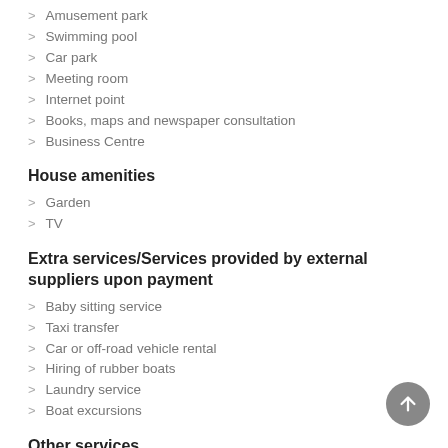Amusement park
Swimming pool
Car park
Meeting room
Internet point
Books, maps and newspaper consultation
Business Centre
House amenities
Garden
TV
Extra services/Services provided by external suppliers upon payment
Baby sitting service
Taxi transfer
Car or off-road vehicle rental
Hiring of rubber boats
Laundry service
Boat excursions
Other services
Pets allowed
Groups
Disabled people facilities